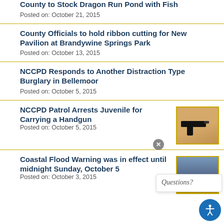County to Stock Dragon Run Pond with Fish
Posted on: October 21, 2015
County Officials to hold ribbon cutting for New Pavilion at Brandywine Springs Park
Posted on: October 13, 2015
NCCPD Responds to Another Distraction Type Burglary in Bellemoor
Posted on: October 5, 2015
NCCPD Patrol Arrests Juvenile for Carrying a Handgun
Posted on: October 5, 2015
[Figure (photo): Photo of a handgun on a wooden surface]
Coastal Flood Warning was in effect until midnight Sunday, October 5
Posted on: October 3, 2015
[Figure (photo): Photo related to coastal flood warning]